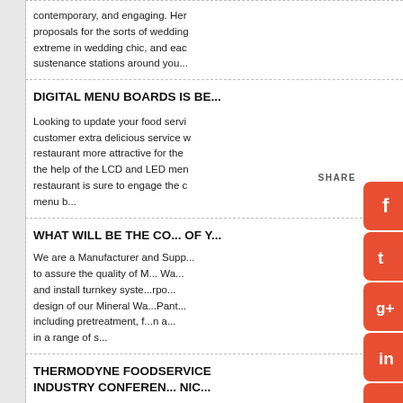contemporary, and engaging. Her proposals for the sorts of wedding extreme in wedding chic, and eac sustenance stations around you...
DIGITAL MENU BOARDS IS BE...
Looking to update your food servi customer extra delicious service w restaurant more attractive for the the help of the LCD and LED men restaurant is sure to engage the c menu b...
SHARE
WHAT WILL BE THE CO... OF Y...
We are a Manufacturer and Supp... to assure the quality of M... Wa... and install turnkey syste...rpo... design of our Mineral Wa...Pant... including pretreatment, f...n a... in a range of s...
THERMODYNE FOODSERVICE INDUSTRY CONFEREN... NIC...
(1888 PressRelease) Th...dyne... Associate Corey Johnso...be a... (MIC). The...